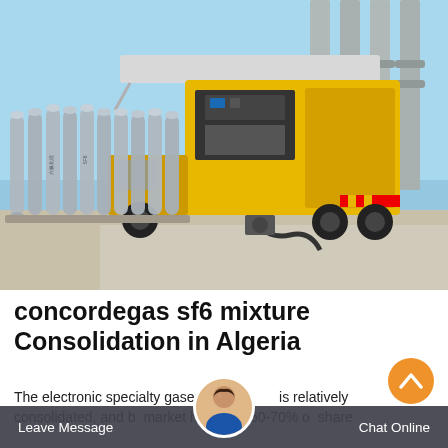[Figure (photo): Photo of gas cylinders (SF6) lined up in front of a yellow service truck at an electrical substation with high-voltage equipment visible in the background]
concordegas sf6 mixture Consolidation in Algeria
The electronic specialty gases market is relatively consolidated, and b Leave Message market h 60-70% o Chat Online share in North America. The largest foreign company...